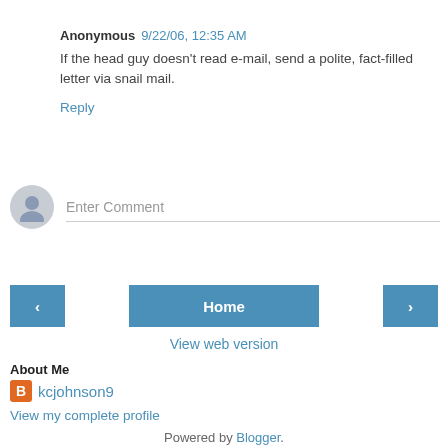Anonymous 9/22/06, 12:35 AM
If the head guy doesn't read e-mail, send a polite, fact-filled letter via snail mail.
Reply
[Figure (illustration): Comment input area with avatar placeholder and 'Enter Comment' text field]
Home navigation bar with left arrow, Home button, and right arrow
View web version
About Me
kcjohnson9
View my complete profile
Powered by Blogger.